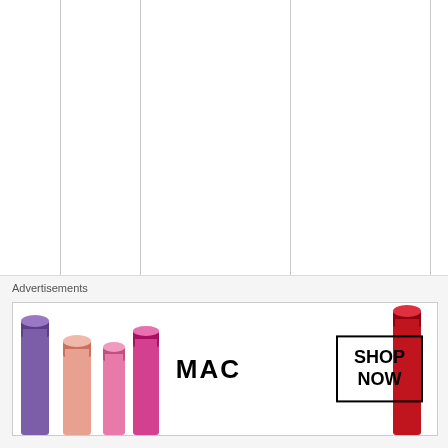s t w i t h o u t b e i
Advertisements
[Figure (other): MAC cosmetics advertisement banner showing colorful lipsticks on the left, MAC logo in center-left, and SHOP NOW button on the right]